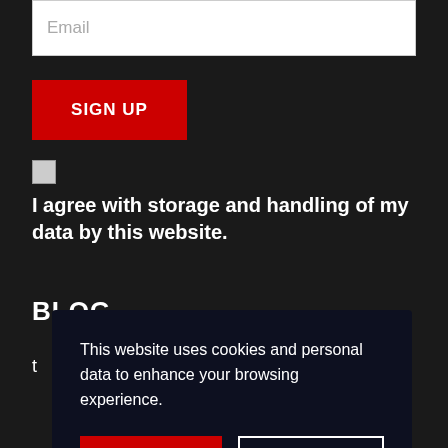Email
SIGN UP
I agree with storage and handling of my data by this website.
BLOG
t
This website uses cookies and personal data to enhance your browsing experience.
OK, I AGREE
PRIVACY POLICY